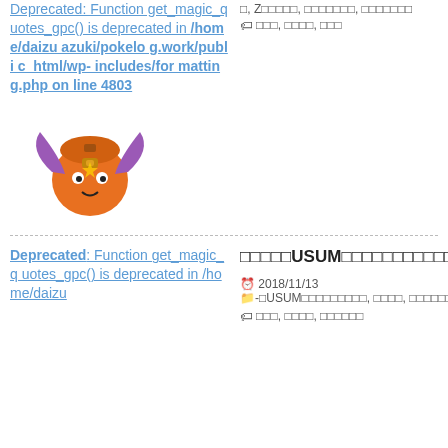Deprecated: Function get_magic_quotes_gpc() is deprecated in /home/daizuazuki/pokelog.work/public_html/wp-includes/formatting.php on line 4803
□, Z□□□□□, □□□□□□□, □□□□□□□
🏷 □□□, □□□□, □□□
[Figure (illustration): Mascot character: orange bag-like creature with purple wings and a face]
□□□□□USUM□□□□□□□□□□□□□□+□□□□□□□□
2018/11/13  □-□USUM□□□□□□□□□, □□□□, □□□□□□, □□□□□□□□, □□□□□□□
🏷 □□□, □□□□, □□□□□□
Deprecated: Function get_magic_quotes_gpc() is deprecated in /home/daizu